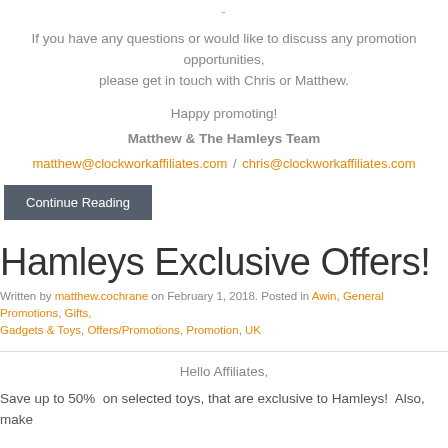-
If you have any questions or would like to discuss any promotion opportunities, please get in touch with Chris or Matthew.
Happy promoting!
Matthew & The Hamleys Team
matthew@clockworkaffiliates.com / chris@clockworkaffiliates.com
Continue Reading
Hamleys Exclusive Offers!
Written by matthew.cochrane on February 1, 2018. Posted in Awin, General Promotions, Gifts, Gadgets & Toys, Offers/Promotions, Promotion, UK
Hello Affiliates,
Save up to 50% on selected toys, that are exclusive to Hamleys! Also, make